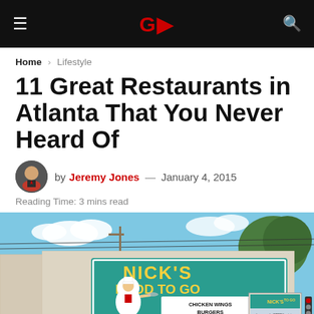GB (logo) navigation bar with hamburger menu and search icon
Home > Lifestyle
11 Great Restaurants in Atlanta That You Never Heard Of
by Jeremy Jones — January 4, 2015
Reading Time: 3 mins read
[Figure (photo): Exterior photo of Nick's Food To Go restaurant building with large mural sign showing a cartoon chef holding a tray, advertising Chicken Wings, Burgers, Hot Dogs, Gyros, Greek Salad, and Daily Specials. A second Nick's To Go roadside sign is visible on the right.]